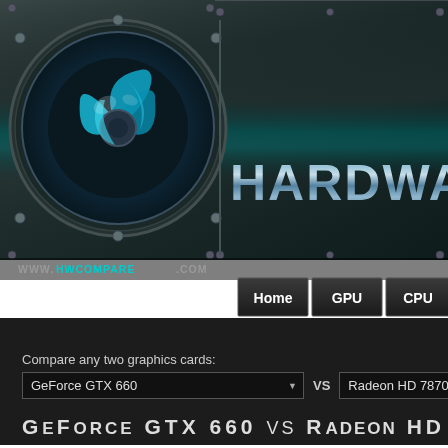[Figure (screenshot): HWCompare website header with logo (blue swirl fan icon), HARDWARE brand text in metallic blue, navigation bar with Home, GPU, CPU buttons, and URL www.hwcompare.com]
Compare any two graphics cards:
GeForce GTX 660 VS Radeon HD 7870
GeForce GTX 660 vs Radeon HD 7870